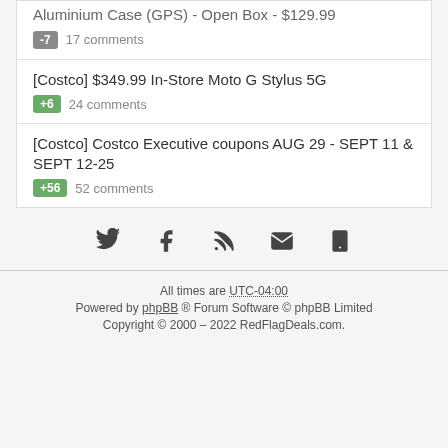Aluminium Case (GPS) - Open Box - $129.99
-7  17 comments
[Costco] $349.99 In-Store Moto G Stylus 5G
+6  24 comments
[Costco] Costco Executive coupons AUG 29 - SEPT 11 & SEPT 12-25
+56  52 comments
[Figure (infographic): Social media icons row: Twitter, Facebook, RSS, Email, Mobile]
All times are UTC-04:00
Powered by phpBB ® Forum Software © phpBB Limited
Copyright © 2000 – 2022 RedFlagDeals.com.